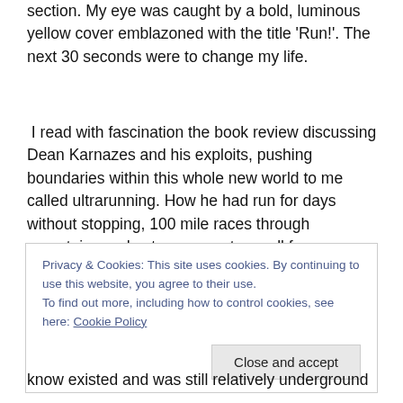section. My eye was caught by a bold, luminous yellow cover emblazoned with the title 'Run!'. The next 30 seconds were to change my life.
I read with fascination the book review discussing Dean Karnazes and his exploits, pushing boundaries within this whole new world to me called ultrarunning. How he had run for days without stopping, 100 mile races through mountains and extreme events on all four corners of the globe. Instantly I was hooked and went straight to Waterstones to buy a copy.
Privacy & Cookies: This site uses cookies. By continuing to use this website, you agree to their use.
To find out more, including how to control cookies, see here: Cookie Policy
know existed and was still relatively underground